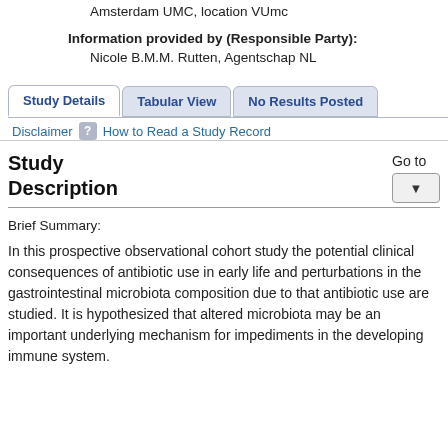Amsterdam UMC, location VUmc
Information provided by (Responsible Party):
Nicole B.M.M. Rutten, Agentschap NL
[Figure (screenshot): Navigation tabs: Study Details (active), Tabular View, No Results Posted; links: Disclaimer, How to Read a Study Record]
Study Description
Brief Summary:
In this prospective observational cohort study the potential clinical consequences of antibiotic use in early life and perturbations in the gastrointestinal microbiota composition due to that antibiotic use are studied. It is hypothesized that altered microbiota may be an important underlying mechanism for impediments in the developing immune system.